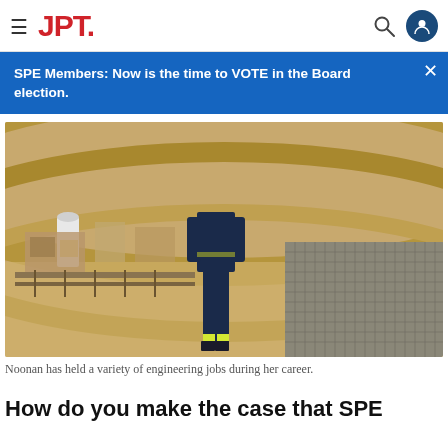JPT.
SPE Members: Now is the time to VOTE in the Board election.
[Figure (photo): Person wearing navy blue coveralls with yellow hi-vis cuffs standing on a metal grating platform at an industrial/oil facility, aerial view showing curved concrete structures, equipment, and scaffolding below.]
Noonan has held a variety of engineering jobs during her career.
How do you make the case that SPE